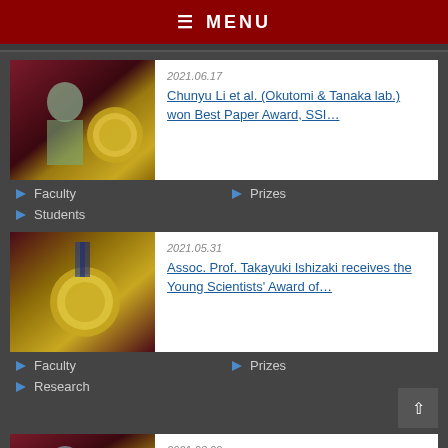≡ MENU
[Figure (photo): Person holding award plaque with gold trophy/medal in background]
2021.06.17
Chunyu Li et al. (Okutomi & Tanaka lab.) won Best Paper Award, SSI…
Faculty
Prizes
Students
[Figure (photo): Gold medal/trophy award photo]
2021.05.31
Assoc. Prof. Takayuki Ishizaki receives the Young Scientists' Award of…
Faculty
Prizes
Research
[Figure (photo): Person with award trophy in background]
2021.03.09
Kazuki Endo et al. (Okutomi & Tanaka lab.) won Audience Award, SSI…